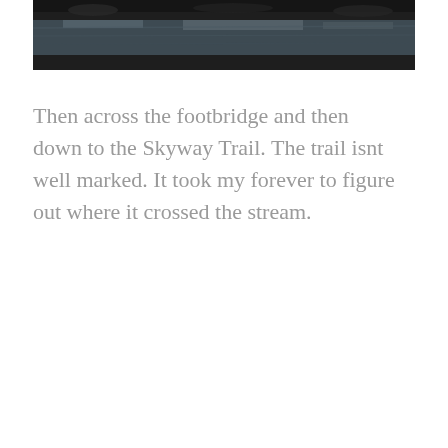[Figure (photo): Partial view of a stream or water surface with dark rocky/muddy banks, cropped at the top of the page.]
Then across the footbridge and then down to the Skyway Trail. The trail isnt well marked. It took my forever to figure out where it crossed the stream.